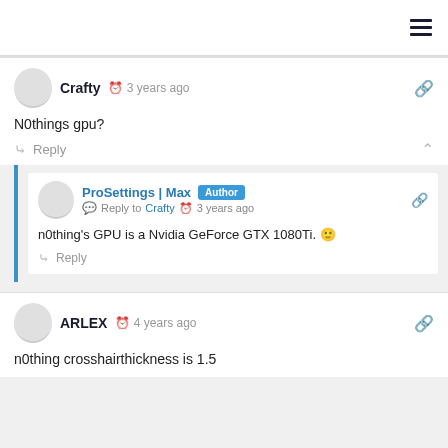≡
Crafty · 3 years ago
N0things gpu?
Reply
ProSettings | Max  Author
Reply to Crafty · 3 years ago
n0thing's GPU is a Nvidia GeForce GTX 1080Ti. 🙂
Reply
ARLEX · 4 years ago
n0thing crosshairthickness is 1.5